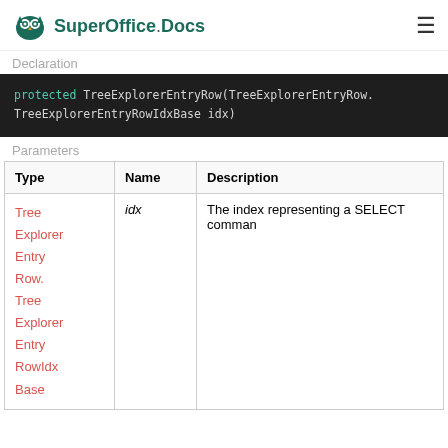SuperOffice.Docs
Declaration
protected TreeExplorerEntryRow(TreeExplorerEntryRow.TreeExplorerEntryRowIdxBase idx)
Parameters
| Type | Name | Description |
| --- | --- | --- |
| TreeExplorer EntryRow. TreeExplorer EntryRow IdxBase | idx | The index representing a SELECT comman… |